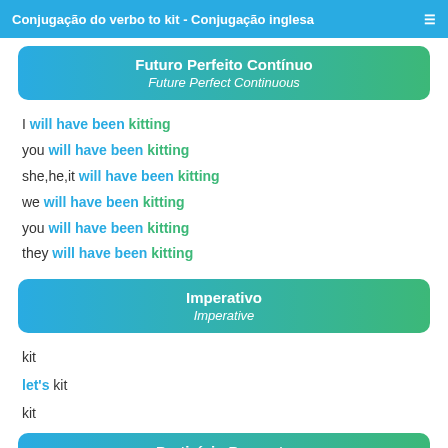Conjugação do verbo to kit - Conjugação inglesa
Futuro Perfeito Contínuo
Future Perfect Continuous
I will have been kitting
you will have been kitting
she,he,it will have been kitting
we will have been kitting
you will have been kitting
they will have been kitting
Imperativo
Imperative
kit
let's kit
kit
Particípio Presente